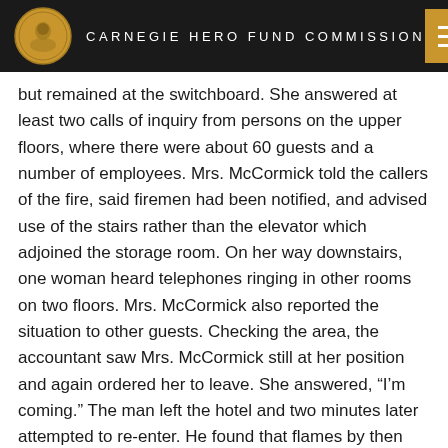CARNEGIE HERO FUND COMMISSION
but remained at the switchboard. She answered at least two calls of inquiry from persons on the upper floors, where there were about 60 guests and a number of employees. Mrs. McCormick told the callers of the fire, said firemen had been notified, and advised use of the stairs rather than the elevator which adjoined the storage room. On her way downstairs, one woman heard telephones ringing in other rooms on two floors. Mrs. McCormick also reported the situation to other guests. Checking the area, the accountant saw Mrs. McCormick still at her position and again ordered her to leave. She answered, “I’m coming.” The man left the hotel and two minutes later attempted to re-enter. He found that flames by then completely filled the foyer and blocked Mrs. McCormick’s only means of exit. He shouted to her but got no reply. Firemen arrived and extinguished the flames. Mrs. McCormick, who was suffocated, was found on the floor in front of the switchboard.